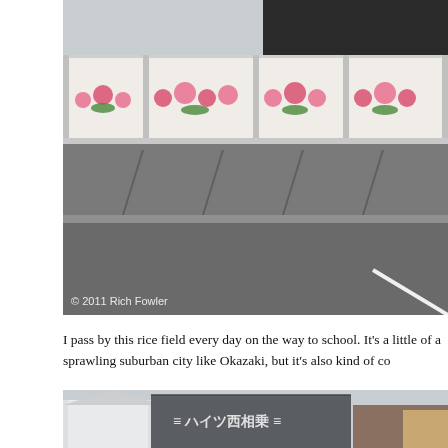[Figure (photo): Photo of a rice field behind a decorative fence with floral tile panels, adjacent to a parking lot and road. Copyright overlay: © 2011 Rich Fowler]
I pass by this rice field every day on the way to school. It's a little of a sprawling suburban city like Okazaki, but it's also kind of co
[Figure (photo): Photo of suburban Japanese buildings including a structure with Japanese text (ハイツ西相乗) on the facade.]